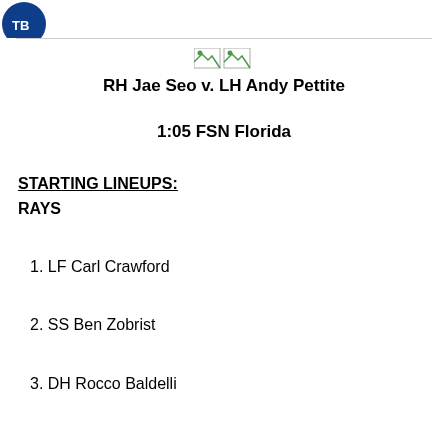[Figure (logo): Rays team logo (partial, top-left corner)]
[Figure (illustration): Two small broken image icons representing team logos]
RH Jae Seo v. LH Andy Pettite
1:05 FSN Florida
STARTING LINEUPS:
RAYS
1. LF Carl Crawford
2. SS Ben Zobrist
3. DH Rocco Baldelli